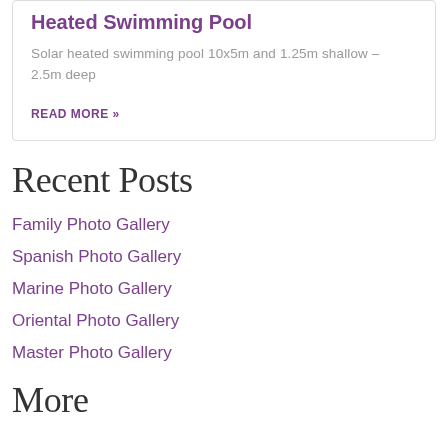Heated Swimming Pool
Solar heated swimming pool 10x5m and 1.25m shallow – 2.5m deep
READ MORE »
Recent Posts
Family Photo Gallery
Spanish Photo Gallery
Marine Photo Gallery
Oriental Photo Gallery
Master Photo Gallery
More